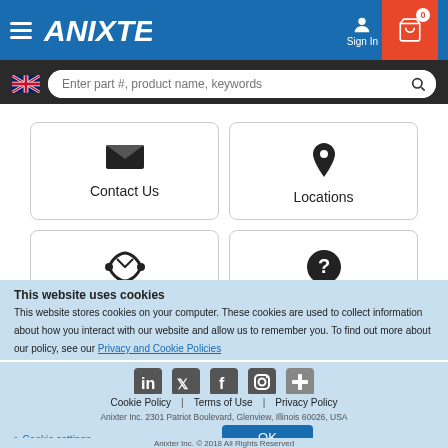[Figure (logo): Anixter website header with hamburger menu, Anixter logo, Sign In icon, and cart icon with 0 badge]
[Figure (screenshot): Search bar with UK flag, text input 'Enter part #, product name, keywords', and search icon]
[Figure (infographic): Four navigation cards: Contact Us (envelope icon), Locations (map pin icon), Careers (handshake icon), Help Center (question mark icon)]
This website uses cookies
This website stores cookies on your computer. These cookies are used to collect information about how you interact with our website and allow us to remember you. To find out more about our policy, see our Privacy and Cookie Policies
[Figure (infographic): Social media icons row: LinkedIn, Twitter, Facebook, Instagram, and others]
Terms of Use | Privacy Policy
Anixter Inc. 2301 Patriot Boulevard, Glenview, Illinois 60026, USA
> Cookie settings
Anixter Inc. © 2018 All Rights Reserved